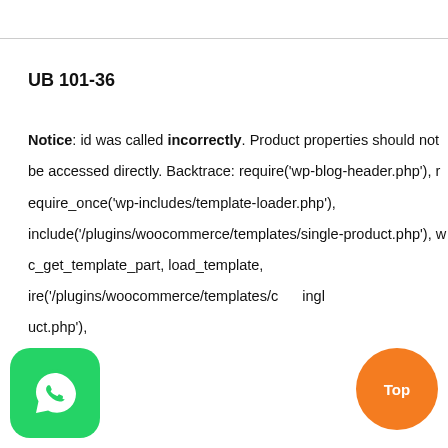UB 101-36
Notice: id was called incorrectly. Product properties should not be accessed directly. Backtrace: require('wp-blog-header.php'), require_once('wp-includes/template-loader.php'), include('/plugins/woocommerce/templates/single-product.php'), wc_get_template_part, load_template, ire('/plugins/woocommerce/templates/c ingl uct.php'),
[Figure (logo): WhatsApp green rounded square button with white phone icon]
[Figure (other): Orange circular Top button]